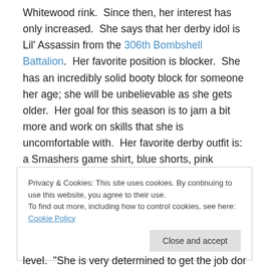Whitewood rink.  Since then, her interest has only increased.  She says that her derby idol is Lil' Assassin from the 306th Bombshell Battalion.  Her favorite position is blocker.  She has an incredibly solid booty block for someone her age; she will be unbelievable as she gets older.  Her goal for this season is to jam a bit more and work on skills that she is uncomfortable with.  Her favorite derby outfit is: a Smashers game shirt, blue shorts, pink leggings, and striped socks.
Privacy & Cookies: This site uses cookies. By continuing to use this website, you agree to their use.
To find out more, including how to control cookies, see here: Cookie Policy
Close and accept
level.  "She is very determined to get the job done, and she